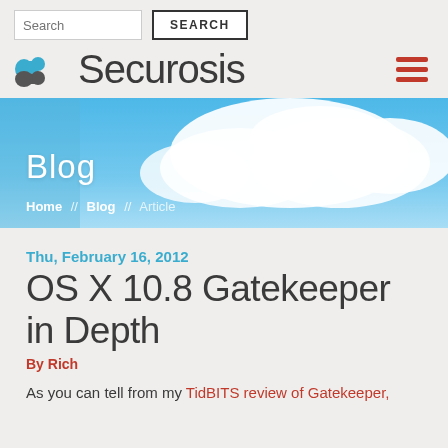Search [input] SEARCH [button]
[Figure (logo): Securosis logo with stylized 'S' icon in blue/dark and the text 'Securosis' in dark gray, plus a hamburger menu icon in red on the right]
[Figure (photo): Blue sky with white clouds banner image with 'Blog' text overlay and breadcrumb navigation: Home // Blog // Article]
Thu, February 16, 2012
OS X 10.8 Gatekeeper in Depth
By Rich
As you can tell from my TidBITS review of Gatekeeper,